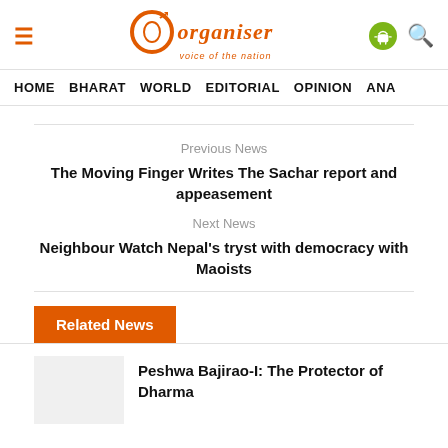Organiser – voice of the nation
HOME  BHARAT  WORLD  EDITORIAL  OPINION  ANA
Previous News
The Moving Finger Writes The Sachar report and appeasement
Next News
Neighbour Watch Nepal's tryst with democracy with Maoists
Related News
Peshwa Bajirao-I: The Protector of Dharma